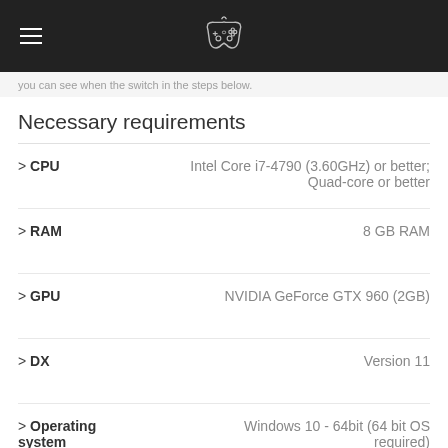≡ [controller icon]
you can see when the switch in the steps below.
Necessary requirements
| Component | Specification |
| --- | --- |
| CPU | Intel Core i7-4790 (3.60GHz) or better; Quad-core or better |
| RAM | 8 GB RAM |
| GPU | NVIDIA GeForce GTX 960 (2GB) |
| DX | Version 11 |
| Operating system | Windows 10 - 64bit (64 bit OS required) |
| Storage | 14 GB available space |
Optional
> Sound  -